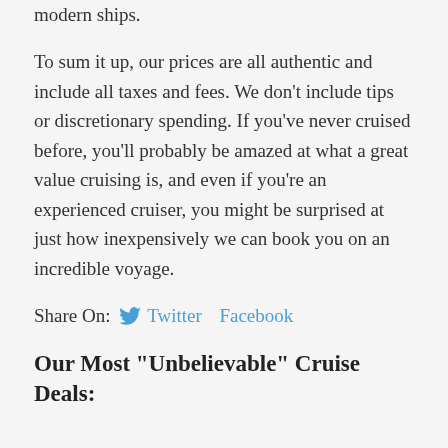modern ships.
To sum it up, our prices are all authentic and include all taxes and fees. We don't include tips or discretionary spending. If you've never cruised before, you'll probably be amazed at what a great value cruising is, and even if you're an experienced cruiser, you might be surprised at just how inexpensively we can book you on an incredible voyage.
Share On: Twitter Facebook
Our Most "Unbelievable" Cruise Deals: